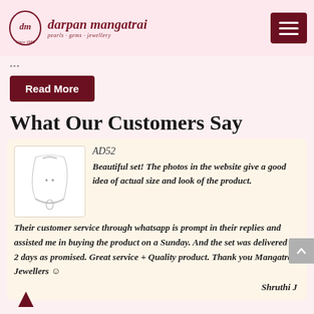darpan mangatrai — pearls · gems · jewellery
...
Read More
What Our Customers Say
AD52
Beautiful set! The photos in the website give a good idea of actual size and look of the product. Their customer service through whatsapp is prompt in their replies and assisted me in buying the product on a Sunday. And the set was delivered in 2 days as promised. Great service + Quality product. Thank you Mangatrai Jewellers 😊
Shruthi J